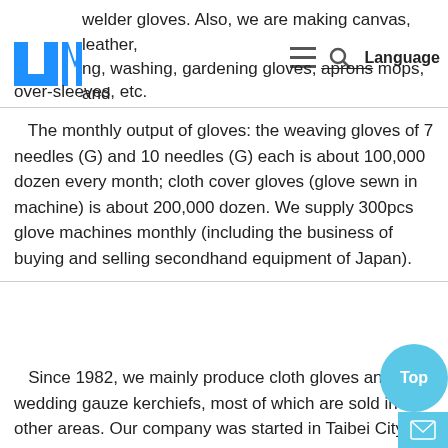welder gloves. Also, we are making canvas, leather, ng, washing, gardening gloves, aprons, mops, and over-sleeves, etc.
The monthly output of gloves: the weaving gloves of 7 needles (G) and 10 needles (G) each is about 100,000 dozen every month; cloth cover gloves (glove sewn in machine) is about 200,000 dozen. We supply 300pcs glove machines monthly (including the business of buying and selling secondhand equipment of Japan).
Since 1982, we mainly produce cloth gloves and wedding gauze kerchiefs, most of which are sold in other areas. Our company was started in Taibei City, Taiwan Province. In 1997, we established a glove weaving factory in Fujian Province; in 1998, we formed another factory in Shangyu City of Zhejiang Province, producing gloves for computer and electronic use, wedding gauze kerchiefs, performing gloves, canvas, gardening g and leather, cow skin, pig skin skiing gloves; in 19 started a third factory to produce machines of gloves